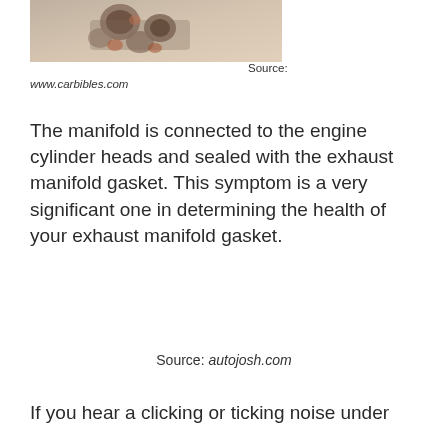[Figure (photo): Photograph of an exhaust manifold component, partially cropped at top of page]
Source: www.carbibles.com
The manifold is connected to the engine cylinder heads and sealed with the exhaust manifold gasket. This symptom is a very significant one in determining the health of your exhaust manifold gasket.
Source: autojosh.com
If you hear a clicking or ticking noise under